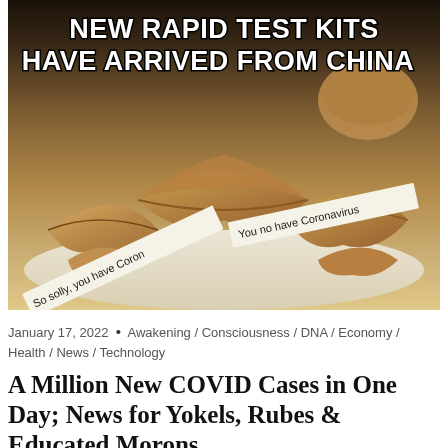[Figure (photo): Meme image showing fortune cookies on a plate. Text overlay at top reads 'NEW RAPID TEST KITS HAVE ARRIVED FROM CHINA'. Fortune slips from cookies read 'You no have Coronavirus' and 'So solly, you have Coron...' — a racist/satirical meme about COVID-19 rapid test kits from China.]
January 17, 2022 • Awakening / Consciousness / DNA / Economy / Health / News / Technology
A Million New COVID Cases in One Day; News for Yokels, Rubes & Educated Morons